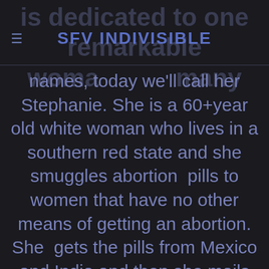SFV INDIVISIBLE
is dedicated to one remarkable woman going by many names, today we'll call her Stephanie. She is a 60+year old white woman who lives in a southern red state and she smuggles abortion pills to women that have no other means of getting an abortion. She gets the pills from Mexico and India and then she mails them to the